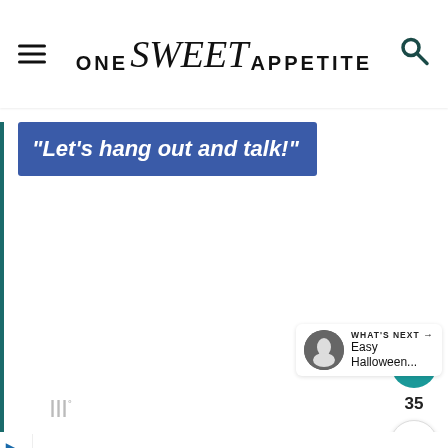ONE Sweet APPETITE
“Let’s hang out and talk!”
35
WHAT’S NEXT → Easy Halloween...
Brake Special Near You Virginia Tire & Auto of Ashburn